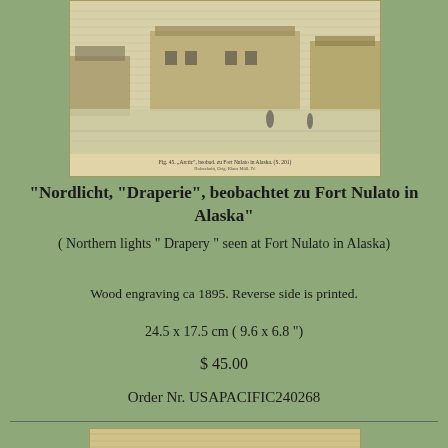[Figure (illustration): Wood engraving showing a winter scene at Fort Nulato in Alaska, with buildings and figures in snow, from ca 1895. Caption text visible at bottom of image.]
"Nordlicht, "Draperie", beobachtet zu Fort Nulato in Alaska"
( Northern lights " Drapery " seen at Fort Nulato in Alaska)
Wood engraving ca 1895. Reverse side is printed.
24.5 x 17.5 cm ( 9.6 x 6.8 ")
$ 45.00
Order Nr. USAPACIFIC240268
[Figure (illustration): Bottom portion of a second wood engraving, partially visible, showing a landscape scene.]